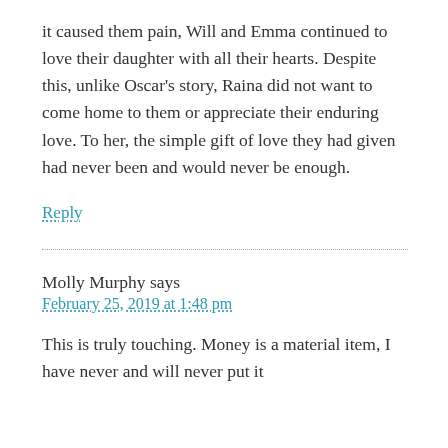it caused them pain, Will and Emma continued to love their daughter with all their hearts. Despite this, unlike Oscar's story, Raina did not want to come home to them or appreciate their enduring love. To her, the simple gift of love they had given had never been and would never be enough.
Reply
Molly Murphy says
February 25, 2019 at 1:48 pm
This is truly touching. Money is a material item, I have never and will never put it